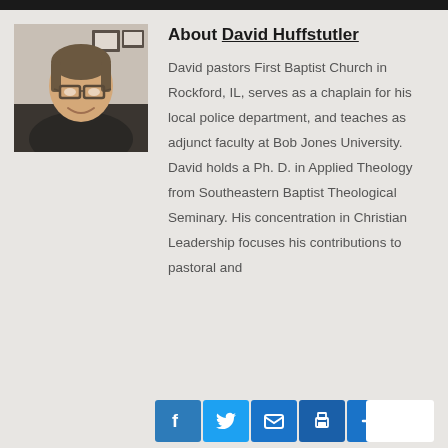[Figure (photo): Headshot photo of David Huffstutler, a man with glasses smiling, wearing a dark jacket, with framed pictures visible in the background.]
About David Huffstutler
David pastors First Baptist Church in Rockford, IL, serves as a chaplain for his local police department, and teaches as adjunct faculty at Bob Jones University. David holds a Ph. D. in Applied Theology from Southeastern Baptist Theological Seminary. His concentration in Christian Leadership focuses his contributions to pastoral and